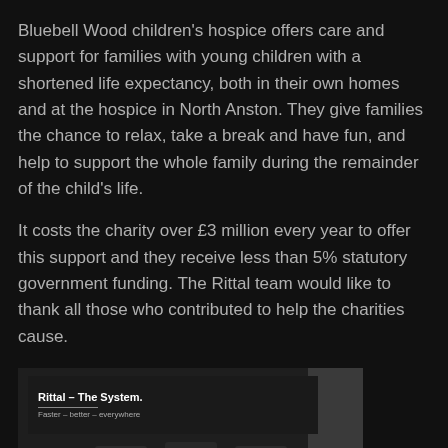Bluebell Wood children's hospice offers care and support for families with young children with a shortened life expectancy, both in their own homes and at the hospice in North Anston. They give families the chance to relax, take a break and have fun, and help to support the whole family during the remainder of the child's life.
It costs the charity over £3 million every year to offer this support and they receive less than 5% statutory government funding. The Rittal team would like to thank all those who contributed to help the charities cause.
[Figure (photo): Photo of three people in dark clothing standing in front of a Rittal display banner that reads 'Rittal – The System. Faster – better – everywhere.' with product displays visible in the background.]